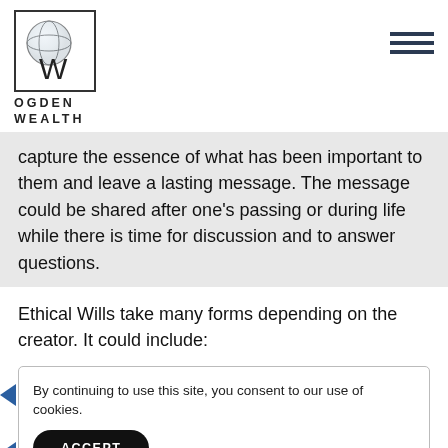[Figure (logo): Ogden Wealth logo: a circular globe-like icon with 'OW' letters and the text OGDEN WEALTH below]
capture the essence of what has been important to them and leave a lasting message. The message could be shared after one's passing or during life while there is time for discussion and to answer questions.
Ethical Wills take many forms depending on the creator. It could include:
By continuing to use this site, you consent to our use of cookies.
ACCEPT